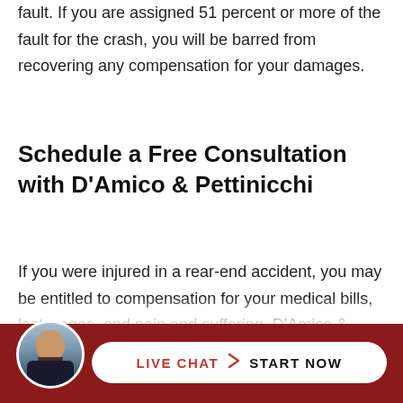fault. If you are assigned 51 percent or more of the fault for the crash, you will be barred from recovering any compensation for your damages.
Schedule a Free Consultation with D'Amico & Pettinicchi
If you were injured in a rear-end accident, you may be entitled to compensation for your medical bills, lost wages, and pain and suffering. D'Amico & Pettinicchi's New Haven personal injury attorneys will evaluate
[Figure (other): Bottom bar with attorney avatar photo (man with beard in suit), and a white pill-shaped button reading LIVE CHAT > START NOW on a dark red background.]